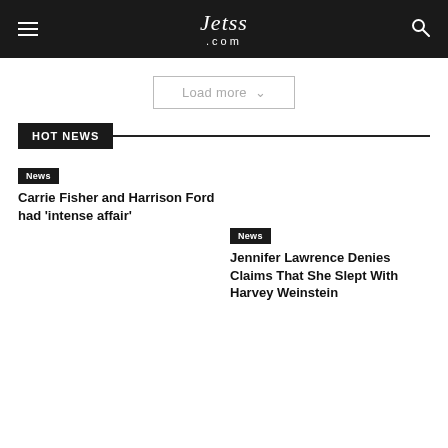Jetss .com
Load more
HOT NEWS
News
Carrie Fisher and Harrison Ford had 'intense affair'
News
Jennifer Lawrence Denies Claims That She Slept With Harvey Weinstein